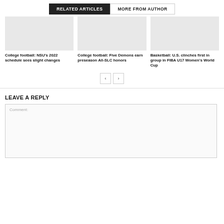RELATED ARTICLES | MORE FROM AUTHOR
[Figure (illustration): Placeholder image for College football: NSU's 2022 schedule sees slight changes]
College football: NSU’s 2022 schedule sees slight changes
[Figure (illustration): Placeholder image for College football: Five Demons earn preseason All-SLC honors]
College football: Five Demons earn preseason All-SLC honors
[Figure (illustration): Placeholder image for Basketball: U.S. clinches first in group in FIBA U17 Women’s World Cup]
Basketball: U.S. clinches first in group in FIBA U17 Women’s World Cup
LEAVE A REPLY
Comment: